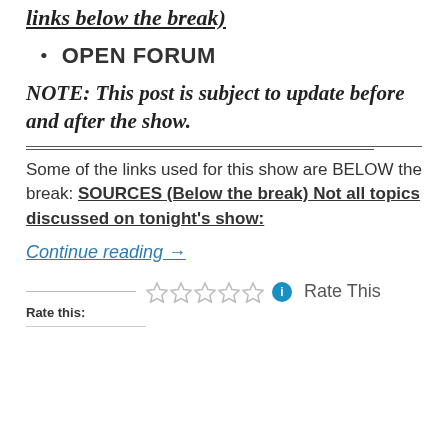links below the break)
OPEN FORUM
NOTE: This post is subject to update before and after the show.
Some of the links used for this show are BELOW the break: SOURCES (Below the break) Not all topics discussed on tonight's show:
Continue reading →
Rate This
Rate this: